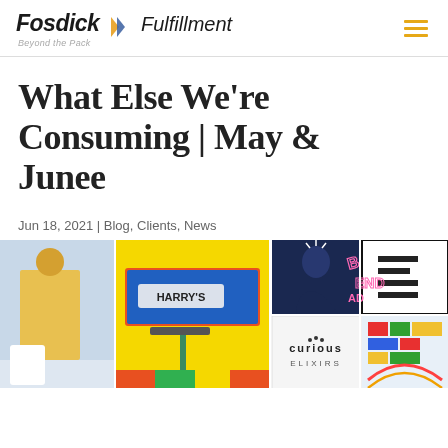Fosdick Fulfillment - Beyond the Pack
What Else We're Consuming | May & Junee
Jun 18, 2021 | Blog, Clients, News
[Figure (photo): Collage of brand images including a person in yellow, Harry's razor packaging, a silhouette figure, a neon-style graphic reading BENT, a logo with letter E, Curious Elixirs branding, and a colorful flat-lay.]